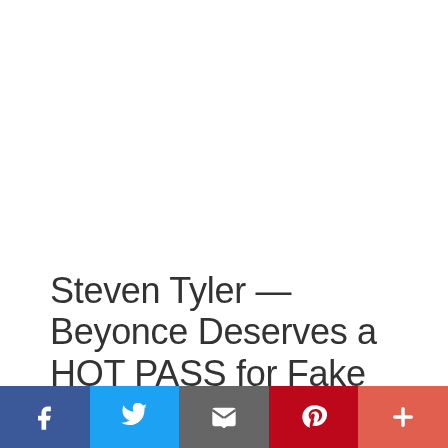Steven Tyler — Beyonce Deserves a HOT PASS for Fake National Anthem
January 23, 2013 by www.tmz.com
[Figure (infographic): Social sharing bar with Facebook, Twitter, Email, Pinterest, and More buttons]